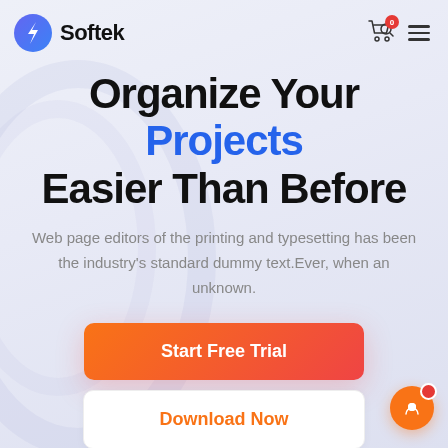[Figure (logo): Softek logo with blue circle icon containing a lightning bolt and bold text 'Softek']
Organize Your Projects Easier Than Before
Web page editors of the printing and typesetting has been the industry's standard dummy text.Ever, when an unknown.
Start Free Trial
Download Now